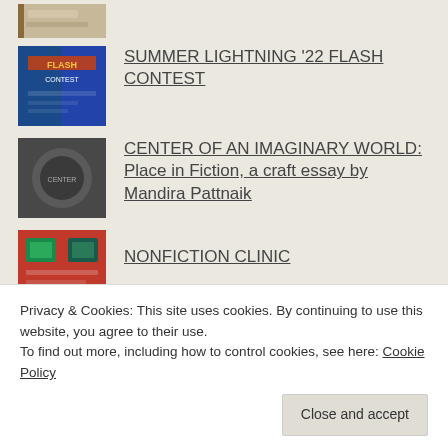[Figure (photo): Small thumbnail image at top, tan/brown color, partially cropped]
[Figure (photo): Flash contest thumbnail with blue and red colors]
SUMMER LIGHTNING '22 FLASH CONTEST
[Figure (photo): Center of an Imaginary World thumbnail - dark gray circular logo]
CENTER OF AN IMAGINARY WORLD: Place in Fiction, a craft essay by Mandira Pattnaik
[Figure (photo): Nonfiction Clinic thumbnail - red background with monitors]
NONFICTION CLINIC
Issue 39 Countdown!
September 16, 2022
Privacy & Cookies: This site uses cookies. By continuing to use this website, you agree to their use.
To find out more, including how to control cookies, see here: Cookie Policy